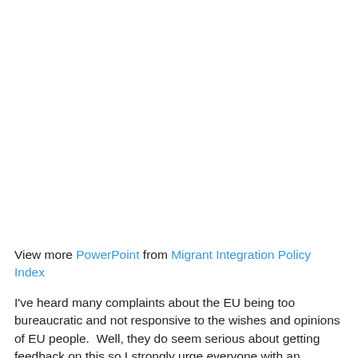View more PowerPoint from Migrant Integration Policy Index
I've heard many complaints about the EU being too bureaucratic and not responsive to the wishes and opinions of EU people.  Well, they do seem serious about getting feedback on this so I strongly urge everyone with an interest